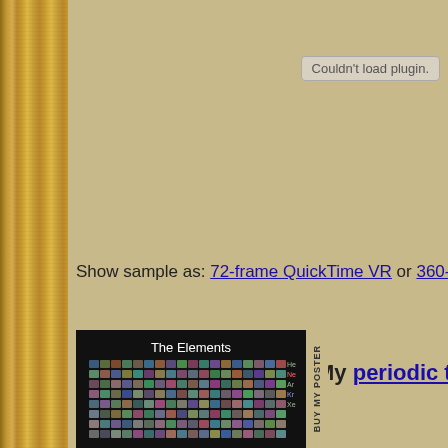[Figure (other): Wood grain panel on left side of page]
Couldn't load plugin.
Show sample as: 72-frame QuickTime VR or 360-frame Qu…
[Figure (photo): Periodic table poster titled 'The Elements' showing photographs of chemical elements with BUY MY POSTER banner on the right side]
My periodic t…